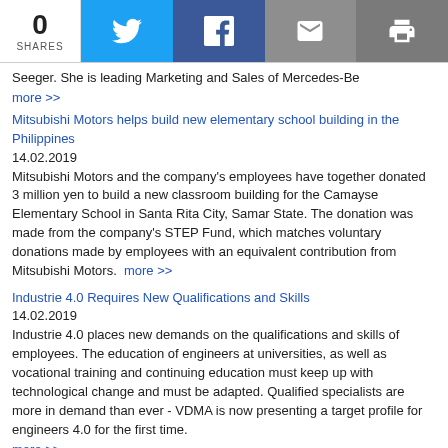0 SHARES | Twitter | Facebook | Email | Print
Seeger. She is leading Marketing and Sales of Mercedes-Be
more >>
Mitsubishi Motors helps build new elementary school building in the Philippines
14.02.2019
Mitsubishi Motors and the company's employees have together donated 3 million yen to build a new classroom building for the Camayse Elementary School in Santa Rita City, Samar State. The donation was made from the company's STEP Fund, which matches voluntary donations made by employees with an equivalent contribution from Mitsubishi Motors.  more >>
Industrie 4.0 Requires New Qualifications and Skills
14.02.2019
Industrie 4.0 places new demands on the qualifications and skills of employees. The education of engineers at universities, as well as vocational training and continuing education must keep up with technological change and must be adapted. Qualified specialists are more in demand than ever - VDMA is now presenting a target profile for engineers 4.0 for the first time.
more >>
2 km of wiring weighing 42 kg – the neurons and arteries of the SEAT Ateca
14.02.2019